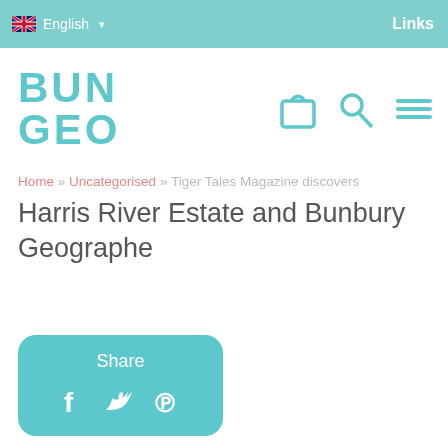English | Links
[Figure (logo): BUNGEO logo in teal/cyan color with shopping bag, search, and hamburger menu icons]
Home » Uncategorised » Tiger Tales Magazine discovers
Harris River Estate and Bunbury Geographe
Share